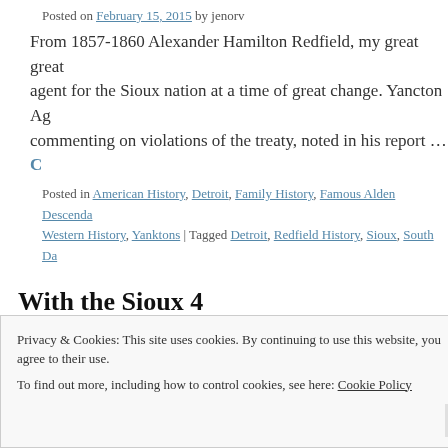Posted on February 15, 2015 by jenorv
From 1857-1860 Alexander Hamilton Redfield, my great great agent for the Sioux nation at a time of great change. Yancton Ag commenting on violations of the treaty, noted in his report … C
Posted in American History, Detroit, Family History, Famous Alden Descenda Western History, Yanktons | Tagged Detroit, Redfield History, Sioux, South Da
With the Sioux 4
Posted on February 14, 2015 by jenorv
From 1857-1860 Alexander Hamilton Redfield, my great great agent for the Sioux nation at a time of great change. On July 4,
Privacy & Cookies: This site uses cookies. By continuing to use this website, you agree to their use. To find out more, including how to control cookies, see here: Cookie Policy